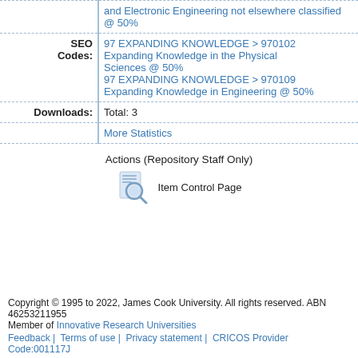| Label | Value |
| --- | --- |
|  | and Electronic Engineering not elsewhere classified @ 50% |
| SEO Codes: | 97 EXPANDING KNOWLEDGE > 970102 Expanding Knowledge in the Physical Sciences @ 50%
97 EXPANDING KNOWLEDGE > 970109 Expanding Knowledge in Engineering @ 50% |
| Downloads: | Total: 3 |
|  | More Statistics |
Actions (Repository Staff Only)
[Figure (icon): Magnifying glass / search icon representing Item Control Page]
Item Control Page
Copyright © 1995 to 2022, James Cook University. All rights reserved. ABN 46253211955
Member of Innovative Research Universities
Feedback | Terms of use | Privacy statement | CRICOS Provider Code:001117J